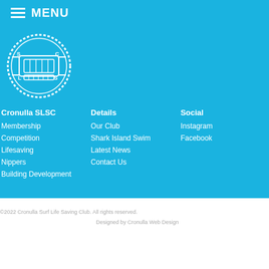MENU
[Figure (logo): Cronulla SLSC circular logo in white on blue background]
Cronulla SLSC
Membership
Competition
Lifesaving
Nippers
Building Development
Details
Our Club
Shark Island Swim
Latest News
Contact Us
Social
Instagram
Facebook
©2022 Cronulla Surf Life Saving Club. All rights reserved.
Designed by Cronulla Web Design